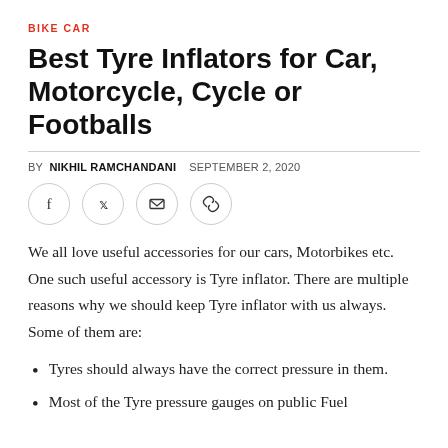BIKE CAR
Best Tyre Inflators for Car, Motorcycle, Cycle or Footballs
BY NIKHIL RAMCHANDANI   SEPTEMBER 2, 2020
[Figure (other): Social sharing icons: Facebook, Twitter, Email, Link]
We all love useful accessories for our cars, Motorbikes etc. One such useful accessory is Tyre inflator. There are multiple reasons why we should keep Tyre inflator with us always. Some of them are:
Tyres should always have the correct pressure in them.
Most of the Tyre pressure gauges on public Fuel